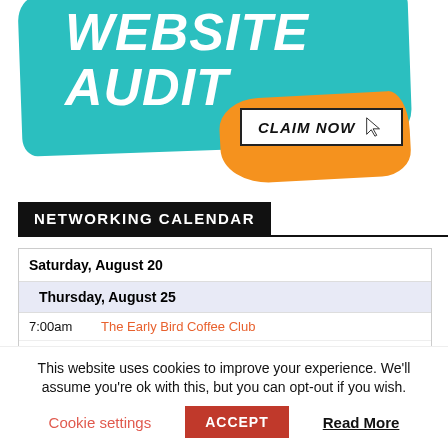[Figure (illustration): Website Audit promotional banner with teal brushstroke background, bold italic white text reading WEBSITE AUDIT, and an orange brushstroke with a white CLAIM NOW button and cursor icon.]
NETWORKING CALENDAR
| Saturday, August 20 |  |  |
| Thursday, August 25 |  |  |
| 7:00am | The Early Bird Coffee Club |  |
| 9:00am | Networking at the Plume of Feathers |  |
This website uses cookies to improve your experience. We'll assume you're ok with this, but you can opt-out if you wish.
Cookie settings   ACCEPT   Read More